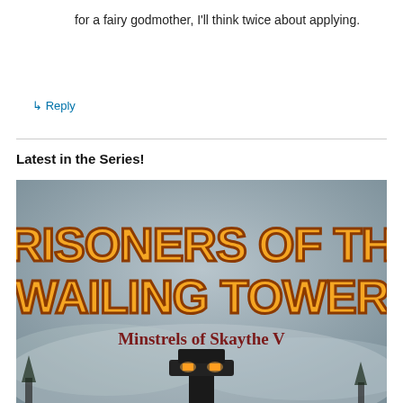for a fairy godmother, I'll think twice about applying.
↳ Reply
Latest in the Series!
[Figure (illustration): Book cover for 'Prisoners of the Wailing Tower – Minstrels of Skaythe V'. Large orange/gold stylized text on a misty grey background. A dark tower with glowing orange windows is visible at the bottom.]